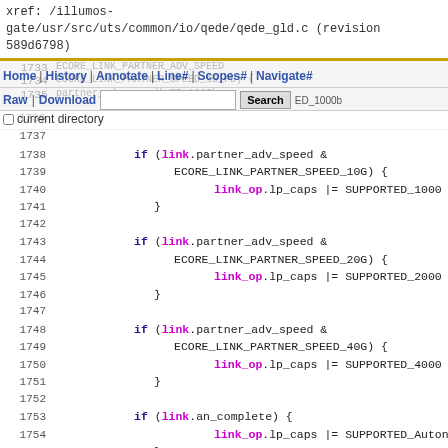xref: /illumos-gate/usr/src/uts/common/io/qede/qede_gld.c (revision 589d6798)
Home | History | Annotate | Line# | Scopes# | Navigate# | Raw | Download | Search | current directory
Code listing lines 1733-1758 of qede_gld.c